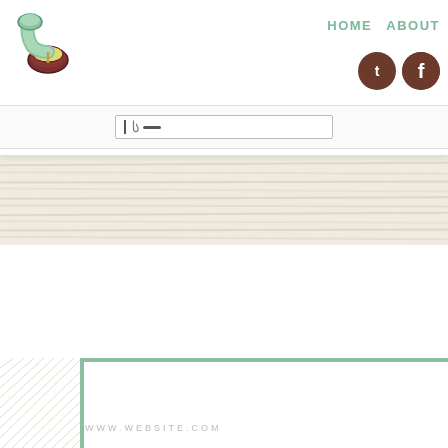[Figure (logo): Green vintage stand mixer logo in top left corner of navigation header]
HOME   ABOUT
[Figure (illustration): Two social media icons (Twitter and Facebook) as dark brown circles with white letters in top right]
[Figure (other): Search bar area with cursor and dash icon in center of header]
[Figure (illustration): Wood grain texture banner below header]
[Figure (logo): Large green vintage stand mixer illustration in lower section]
[Figure (other): Green horizontal decorative lines and vertical line forming a bracket-like frame with hatch marks on left side]